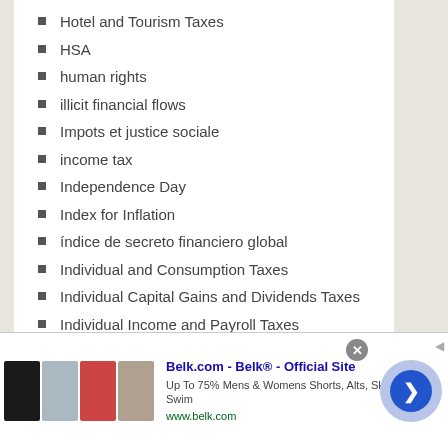Hotel and Tourism Taxes
HSA
human rights
illicit financial flows
Impots et justice sociale
income tax
Independence Day
Index for Inflation
índice de secreto financiero global
Individual and Consumption Taxes
Individual Capital Gains and Dividends Taxes
Individual Income and Payroll Taxes
Individual Income tax
[Figure (screenshot): Advertisement banner for Belk.com showing clothing images, ad title 'Belk.com - Belk® - Official Site', description 'Up To 75% Mens & Womens Shorts, Alts, Skirts & Swim', URL 'www.belk.com', with a close button and navigation arrow button]